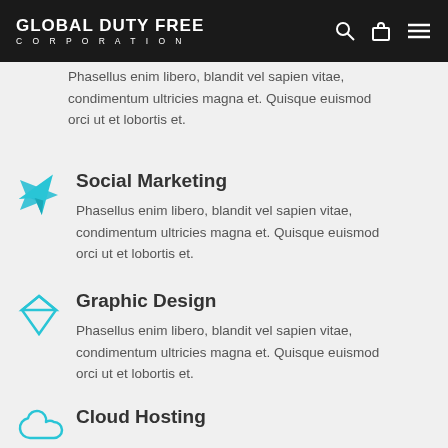GLOBAL DUTY FREE CORPORATION
Phasellus enim libero, blandit vel sapien vitae, condimentum ultricies magna et. Quisque euismod orci ut et lobortis et.
Social Marketing
Phasellus enim libero, blandit vel sapien vitae, condimentum ultricies magna et. Quisque euismod orci ut et lobortis et.
Graphic Design
Phasellus enim libero, blandit vel sapien vitae, condimentum ultricies magna et. Quisque euismod orci ut et lobortis et.
Cloud Hosting